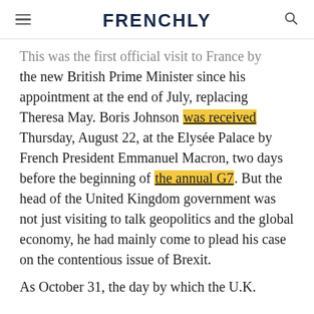FRENCHLY
This was the first official visit to France by the new British Prime Minister since his appointment at the end of July, replacing Theresa May. Boris Johnson was received Thursday, August 22, at the Elysée Palace by French President Emmanuel Macron, two days before the beginning of the annual G7. But the head of the United Kingdom government was not just visiting to talk geopolitics and the global economy, he had mainly come to plead his case on the contentious issue of Brexit.
As October 31, the day by which the U.K.